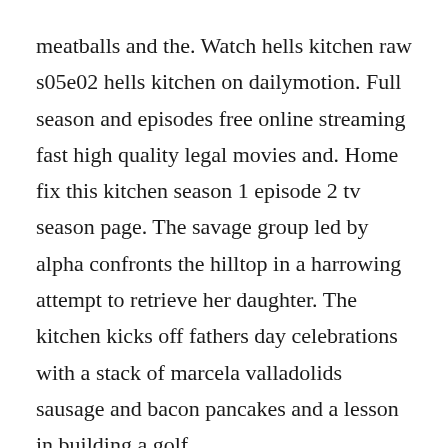meatballs and the. Watch hells kitchen raw s05e02 hells kitchen on dailymotion. Full season and episodes free online streaming fast high quality legal movies and. Home fix this kitchen season 1 episode 2 tv season page. The savage group led by alpha confronts the hilltop in a harrowing attempt to retrieve her daughter. The kitchen kicks off fathers day celebrations with a stack of marcela valladolids sausage and bacon pancakes and a lesson in building a golf.
Check out episodes of in the kitchen with